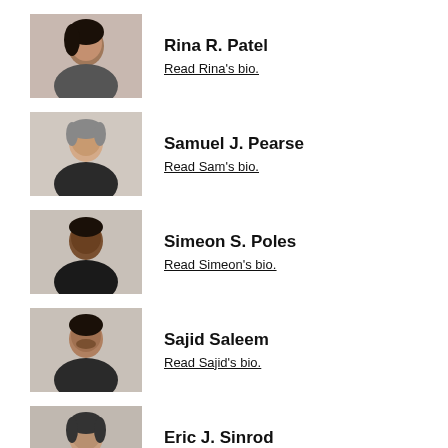[Figure (photo): Headshot of Rina R. Patel]
Rina R. Patel
Read Rina's bio.
[Figure (photo): Headshot of Samuel J. Pearse]
Samuel J. Pearse
Read Sam's bio.
[Figure (photo): Headshot of Simeon S. Poles]
Simeon S. Poles
Read Simeon's bio.
[Figure (photo): Headshot of Sajid Saleem]
Sajid Saleem
Read Sajid's bio.
[Figure (photo): Headshot of Eric J. Sinrod]
Eric J. Sinrod
Read Eric's bio.